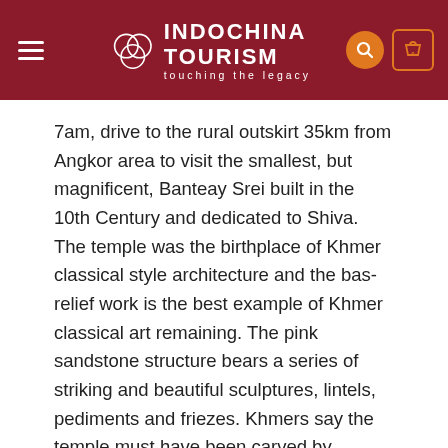INDOCHINA TOURISM touching the legacy
7am, drive to the rural outskirt 35km from Angkor area to visit the smallest, but magnificent, Banteay Srei built in the 10th Century and dedicated to Shiva. The temple was the birthplace of Khmer classical style architecture and the bas-relief work is the best example of Khmer classical art remaining. The pink sandstone structure bears a series of striking and beautiful sculptures, lintels, pediments and friezes. Khmers say the temple must have been carved by women for the details are too fine for the hands of a man. Continue to the ancient Khmer civilization site of Hariharalaya which flourished in the late 9th and earlier 10th centuries. These are the earliest temples in the Angkor area and were found to the Rol...